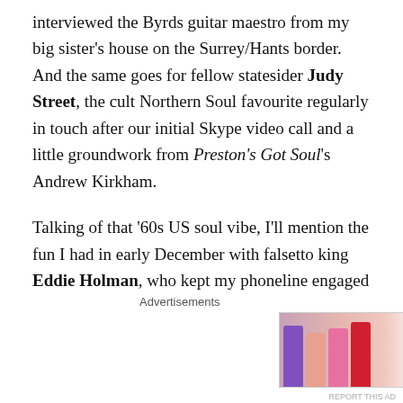interviewed the Byrds guitar maestro from my big sister's house on the Surrey/Hants border. And the same goes for fellow statesider Judy Street, the cult Northern Soul favourite regularly in touch after our initial Skype video call and a little groundwork from Preston's Got Soul's Andrew Kirkham.
Talking of that '60s US soul vibe, I'll mention the fun I had in early December with falsetto king Eddie Holman, who kept my phoneline engaged for an age. Actually, I still can't bring myself to find out how much that call cost me from his home in Philadelphia.
Also on the subject of phone bills, I dread to think how
[Figure (other): MAC Cosmetics advertisement showing lipsticks and SHOP NOW button]